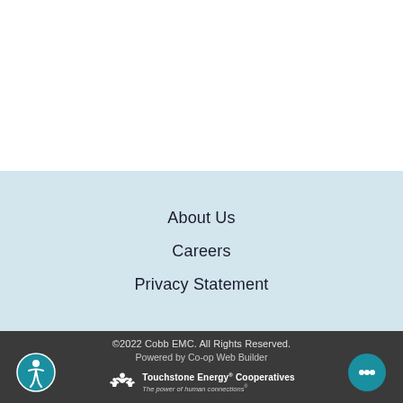About Us
Careers
Privacy Statement
©2022 Cobb EMC. All Rights Reserved.
Powered by Co-op Web Builder
Touchstone Energy® Cooperatives — The power of human connections®